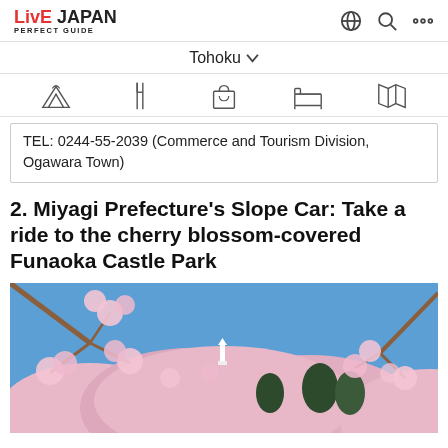LIVE JAPAN PERFECT GUIDE
Tohoku
TEL: 0244-55-2039 (Commerce and Tourism Division, Ogawara Town)
2. Miyagi Prefecture's Slope Car: Take a ride to the cherry blossom-covered Funaoka Castle Park
[Figure (photo): Photo of Funaoka Castle Park hill covered in pink cherry blossoms with a white statue at the top and blue sky]